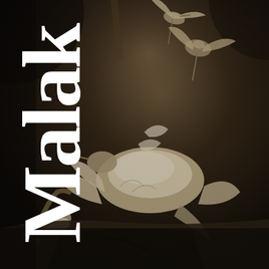[Figure (illustration): Dark sepia-toned classical painting of dead birds (game birds) arranged in a still life composition, with dramatic chiaroscuro lighting on a dark background. Birds with feathers and wings are depicted in various positions.]
Malak